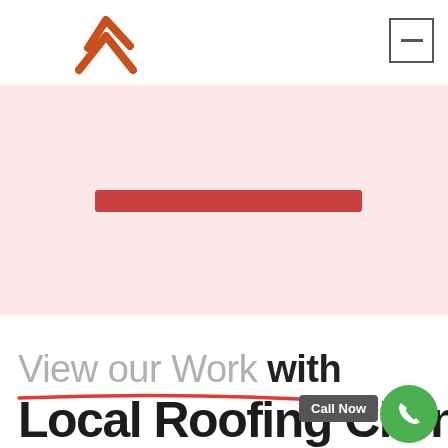[Figure (logo): Orange/red roofing company logo — stylized double chevron arrow pointing up-right forming a house/roof shape]
[Figure (other): Hamburger menu button — square border with a single horizontal line in the center]
[Figure (other): Pink/light-red background section with a dark red horizontal bar near the top]
View our Work with Local Roofing Clients
[Figure (other): Red scroll-up circular button with upward chevron arrow]
[Figure (other): Call Now tooltip bubble and green phone call circular button]